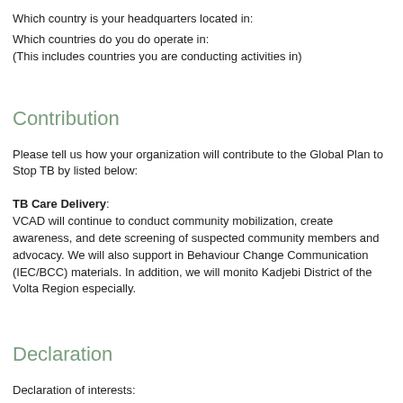Which country is your headquarters located in:
Which countries do you do operate in:
(This includes countries you are conducting activities in)
Contribution
Please tell us how your organization will contribute to the Global Plan to Stop TB by listed below:
TB Care Delivery:
VCAD will continue to conduct community mobilization, create awareness, and dete screening of suspected community members and advocacy. We will also support in Behaviour Change Communication (IEC/BCC) materials. In addition, we will monito Kadjebi District of the Volta Region especially.
Declaration
Declaration of interests:
There are no conflict of interest.
Application date:
Last updated: